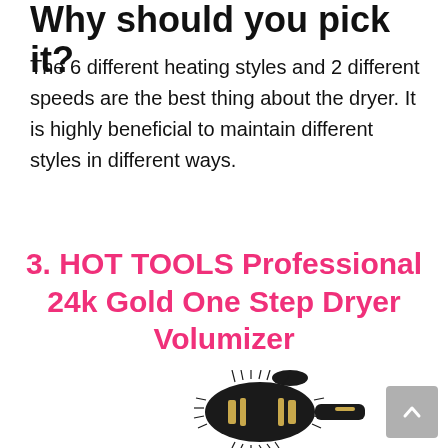Why should you pick it?
The 6 different heating styles and 2 different speeds are the best thing about the dryer. It is highly beneficial to maintain different styles in different ways.
3. HOT TOOLS Professional 24k Gold One Step Dryer Volumizer
[Figure (photo): Photo of a HOT TOOLS Professional 24k Gold hair dryer brush/volumizer with black barrel and gold accents, showing the round brush head with bristles.]